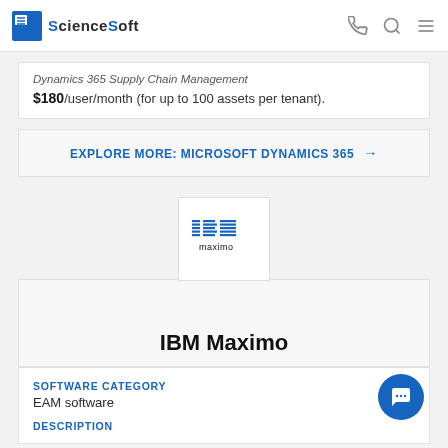ScienceSoft
Dynamics 365 Supply Chain Management $180/user/month (for up to 100 assets per tenant).
EXPLORE MORE: MICROSOFT DYNAMICS 365 →
[Figure (logo): IBM Maximo logo — IBM striped letters in blue above the word 'maximo' in black]
IBM Maximo
SOFTWARE CATEGORY
EAM software
DESCRIPTION